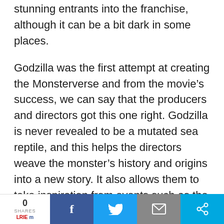stunning entrants into the franchise, although it can be a bit dark in some places.
Godzilla was the first attempt at creating the Monsterverse and from the movie's success, we can say that the producers and directors got this one right. Godzilla is never revealed to be a mutated sea reptile, and this helps the directors weave the monster's history and origins into a new story. It also allows them to take inspiration from events such as the Fukushima nuclear disaster.
0 SHARES | Facebook | Twitter | Email | Share